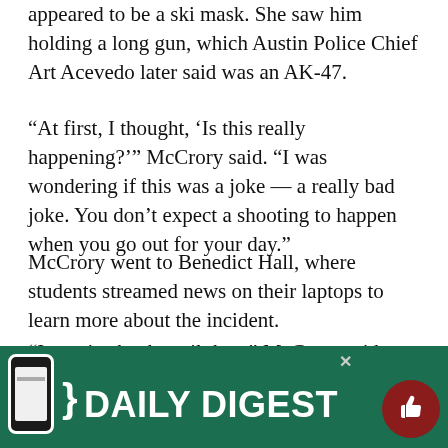appeared to be a ski mask. She saw him holding a long gun, which Austin Police Chief Art Acevedo later said was an AK-47.
“At first, I thought, ‘Is this really happening?’” McCrory said. “I was wondering if this was a joke — a really bad joke. You don’t expect a shooting to happen when you go out for your day.”
McCrory went to Benedict Hall, where students streamed news on their laptops to learn more about the incident.
“I was in shock until then,” McCrory said. “As more policemen came, more realizations came to me that this actually happened.”
Pre-public relations freshman Andrew Mel…ter and p… …i… they h…
[Figure (other): Daily Digest app promotion overlay banner in dark green with phone icon, 'DAILY DIGEST' text, close button X, and red thumbs-up circle button]